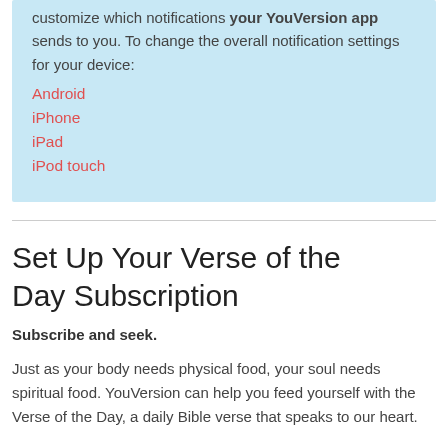customize which notifications your YouVersion app sends to you. To change the overall notification settings for your device:
Android
iPhone
iPad
iPod touch
Set Up Your Verse of the Day Subscription
Subscribe and seek.
Just as your body needs physical food, your soul needs spiritual food. YouVersion can help you feed yourself with the Verse of the Day, a daily Bible verse that speaks to our heart.